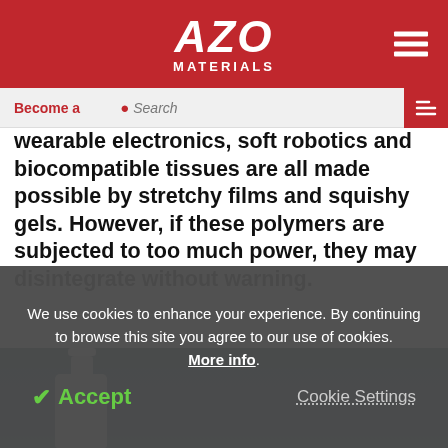AZO MATERIALS
Become a
Search
wearable electronics, soft robotics and biocompatible tissues are all made possible by stretchy films and squishy gels. However, if these polymers are subjected to too much power, they may disintegrate without warning.
[Figure (photo): Photo of a white bottle/container against a dark teal/blue background]
We use cookies to enhance your experience. By continuing to browse this site you agree to our use of cookies. More info. Accept Cookie Settings